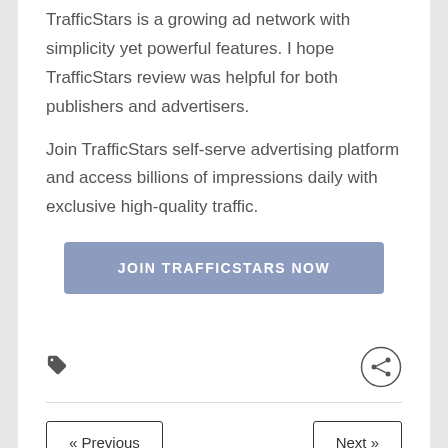TrafficStars is a growing ad network with simplicity yet powerful features. I hope TrafficStars review was helpful for both publishers and advertisers.
Join TrafficStars self-serve advertising platform and access billions of impressions daily with exclusive high-quality traffic.
[Figure (other): Button with text JOIN TRAFFICSTARS NOW in muted blue/slate color]
[Figure (other): Tag icon on left, share/network icon on right]
[Figure (other): Navigation row with Previous and Next buttons]